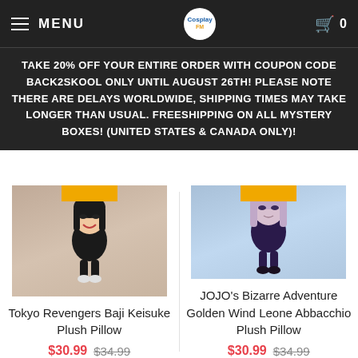MENU | CosplayFM logo | Cart 0
TAKE 20% OFF YOUR ENTIRE ORDER WITH COUPON CODE BACK2SKOOL ONLY UNTIL AUGUST 26TH! PLEASE NOTE THERE ARE DELAYS WORLDWIDE, SHIPPING TIMES MAY TAKE LONGER THAN USUAL. FREESHIPPING ON ALL MYSTERY BOXES! (UNITED STATES & CANADA ONLY)!
[Figure (photo): Tokyo Revengers Baji Keisuke chibi plush pillow product image with anime character background]
Tokyo Revengers Baji Keisuke Plush Pillow
$30.99 $34.99
[Figure (photo): JOJO's Bizarre Adventure Golden Wind Leone Abbacchio chibi plush pillow product image with anime character background]
JOJO's Bizarre Adventure Golden Wind Leone Abbacchio Plush Pillow
$30.99 $34.99